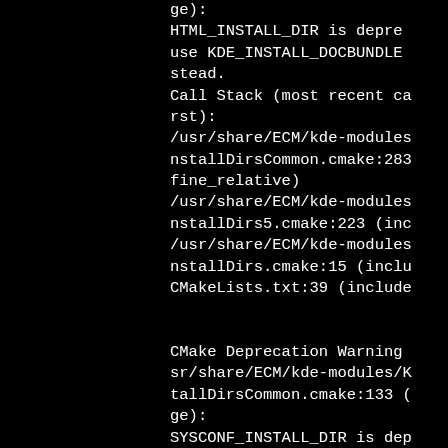ge):
HTML_INSTALL_DIR is depre
use KDE_INSTALL_DOCBUNDLE
stead.
Call Stack (most recent ca
rst):
/usr/share/ECM/kde-modules
nstallDirsCommon.cmake:283
fine_relative)
/usr/share/ECM/kde-modules
nstallDirs5.cmake:223 (inc
/usr/share/ECM/kde-modules
nstallDirs.cmake:15 (inclu
CMakeLists.txt:39 (include


CMake Deprecation Warning
sr/share/ECM/kde-modules/K
tallDirsCommon.cmake:133 (
ge):
SYSCONF_INSTALL_DIR is dep
ed, use KDE_INSTALL_SYSCON
instead.
Call Stack (most recent ca